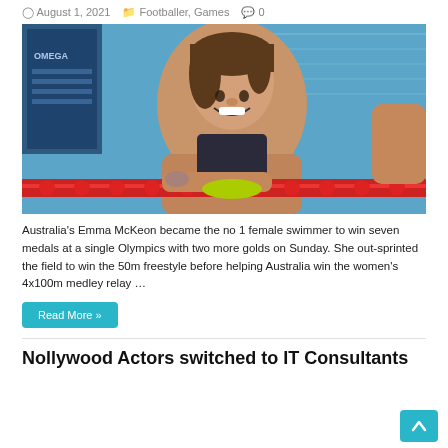August 1, 2021  Footballer, Games  0
[Figure (photo): Australia's Emma McKeon smiling at a swimming pool, resting her arms on red lane dividers, holding something yellow, with blue pool water in background and an Omega timing board visible]
Australia's Emma McKeon became the no 1 female swimmer to win seven medals at a single Olympics with two more golds on Sunday. She out-sprinted the field to win the 50m freestyle before helping Australia win the women's 4x100m medley relay …
Read More »
Nollywood Actors switched to IT Consultants